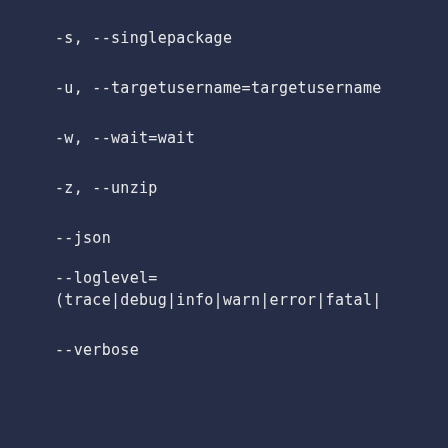-s, --singlepackage
-u, --targetusername=targetusername
-w, --wait=wait
-z, --unzip
--json
--loglevel=(trace|debug|info|warn|error|fatal|
--verbose